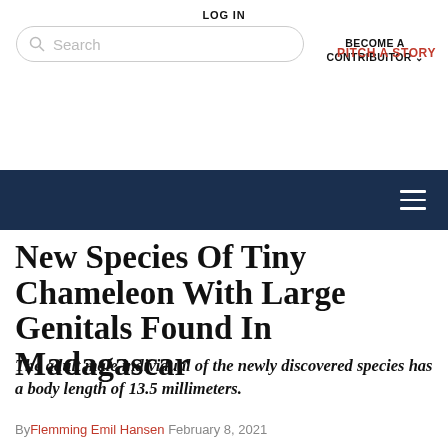LOG IN
Search
BECOME A CONTRIBUITOR
PITCH A STORY
[Figure (other): Dark navy navigation bar with hamburger menu icon (three horizontal lines) on the right side]
New Species Of Tiny Chameleon With Large Genitals Found In Madagascar
The adult male individual of the newly discovered species has a body length of 13.5 millimeters.
By Flemming Emil Hansen  February 8, 2021